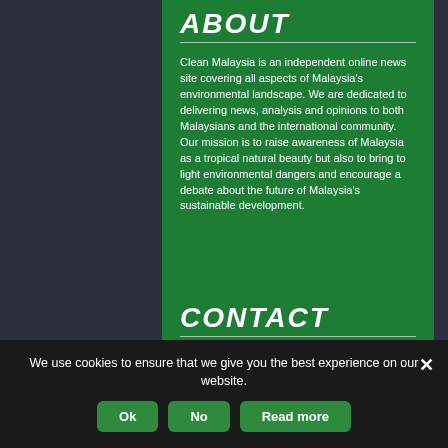ABOUT
Clean Malaysia is an independent online news site covering all aspects of Malaysia's environmental landscape. We are dedicated to delivering news, analysis and opinions to both Malaysians and the international community. Our mission is to raise awareness of Malaysia as a tropical natural beauty but also to bring to light environmental dangers and encourage a debate about the future of Malaysia's sustainable development.
CONTACT
Join us
We use cookies to ensure that we give you the best experience on our website.